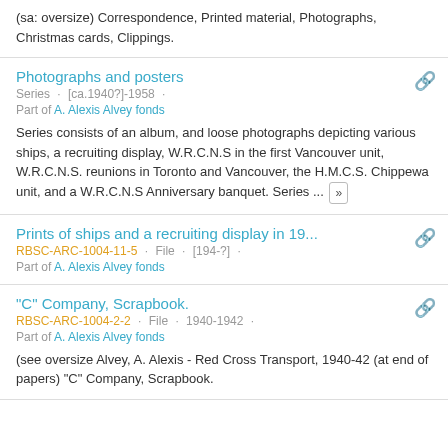(sa: oversize) Correspondence, Printed material, Photographs, Christmas cards, Clippings.
Photographs and posters
Series · [ca.1940?]-1958 ·
Part of A. Alexis Alvey fonds
Series consists of an album, and loose photographs depicting various ships, a recruiting display, W.R.C.N.S in the first Vancouver unit, W.R.C.N.S. reunions in Toronto and Vancouver, the H.M.C.S. Chippewa unit, and a W.R.C.N.S Anniversary banquet. Series ... »
Prints of ships and a recruiting display in 19...
RBSC-ARC-1004-11-5 · File · [194-?] ·
Part of A. Alexis Alvey fonds
"C" Company, Scrapbook.
RBSC-ARC-1004-2-2 · File · 1940-1942 ·
Part of A. Alexis Alvey fonds
(see oversize Alvey, A. Alexis - Red Cross Transport, 1940-42 (at end of papers) "C" Company, Scrapbook.